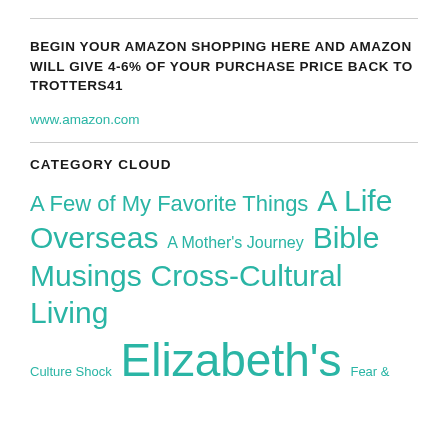BEGIN YOUR AMAZON SHOPPING HERE AND AMAZON WILL GIVE 4-6% OF YOUR PURCHASE PRICE BACK TO TROTTERS41
www.amazon.com
CATEGORY CLOUD
A Few of My Favorite Things  A Life Overseas  A Mother's Journey  Bible Musings  Cross-Cultural Living  Culture Shock  Elizabeth's  Fear &